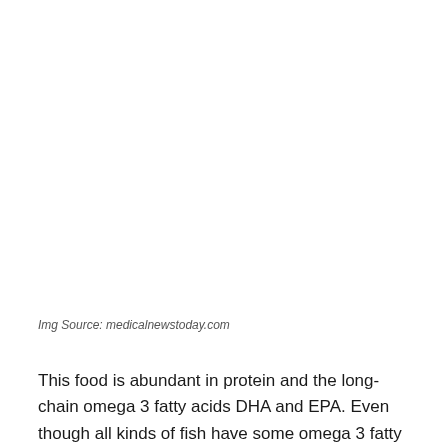Img Source: medicalnewstoday.com
This food is abundant in protein and the long-chain omega 3 fatty acids DHA and EPA. Even though all kinds of fish have some omega 3 fatty acids, the following fatty fish is one of